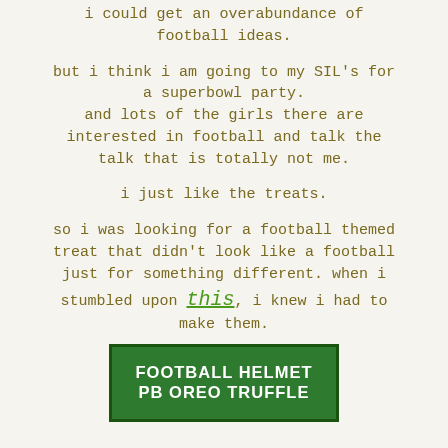i could get an overabundance of football ideas.
but i think i am going to my SIL's for a superbowl party. and lots of the girls there are interested in football and talk the talk that is totally not me.
i just like the treats.
so i was looking for a football themed treat that didn't look like a football just for something different. when i stumbled upon this, i knew i had to make them.
[Figure (other): Green banner image with white bold text reading FOOTBALL HELMET PB OREO TRUFFLE]